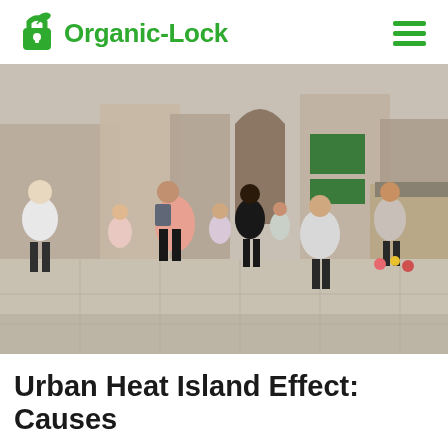Organic-Lock
[Figure (photo): Crowded urban pedestrian street scene on a sunny day, showing people walking on a wide paved shopping street with shops and market stalls in the background. Location appears to be Angel, London.]
Urban Heat Island Effect: Causes